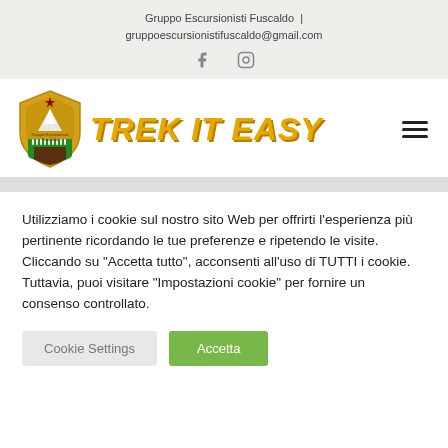Gruppo Escursionisti Fuscaldo | gruppoescursionistifuscaldo@gmail.com
[Figure (logo): Trek It Easy logo with shield emblem and stylized text]
Utilizziamo i cookie sul nostro sito Web per offrirti l'esperienza più pertinente ricordando le tue preferenze e ripetendo le visite. Cliccando su "Accetta tutto", acconsenti all'uso di TUTTI i cookie. Tuttavia, puoi visitare "Impostazioni cookie" per fornire un consenso controllato.
Cookie Settings
Accetta